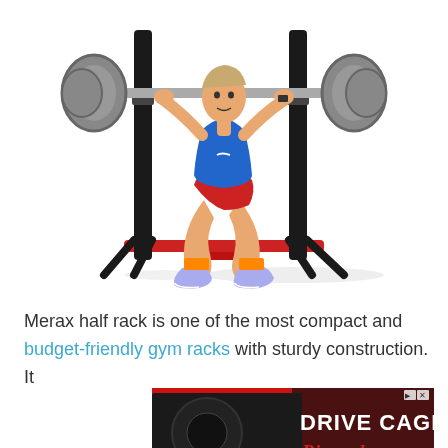[Figure (photo): A man performing a squat exercise with a barbell on a Merax half rack / squat stand. The rack is black with red base bars. The man wears a blue Nike tank top and red shorts.]
Merax half rack is one of the most compact and budget-friendly gym racks with sturdy construction. It
[Figure (photo): Advertisement banner for Ripcord Arrow Rest - Drive Cage. Red and black background with product image on left. Text reads DRIVE CAGE in large white letters, Ripcord Arrow Rest in red italic script, and LEARN MORE button.]